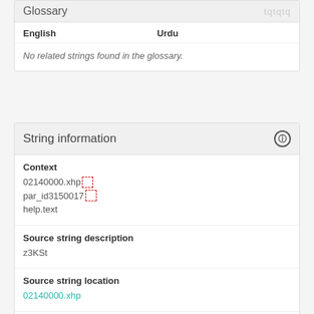Glossary
| English | Urdu |
| --- | --- |
No related strings found in the glossary.
String information
Context
02140000.xhp
par_id3150017
help.text
Source string description
z3KSt
Source string location
02140000.xhp
String age
11 months ago